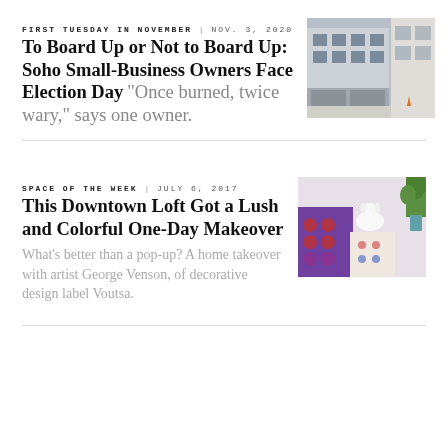FIRST TUESDAY IN NOVEMBER | NOV. 3, 2020
To Board Up or Not to Board Up: Soho Small-Business Owners Face Election Day
“Once burned, twice shy,” says one owner.
[Figure (photo): Street-level photo of a Soho building exterior with boarded or shuttered storefronts]
SPACE OF THE WEEK | JULY 6, 2017
This Downtown Loft Got a Lush and Colorful One-Day Makeover
What’s better than a pop-up? A home takeover with artist George Venson, of decorative design label Voutsa.
[Figure (photo): Colorful loft interior with patterned textiles, a white dog, and decorative items]